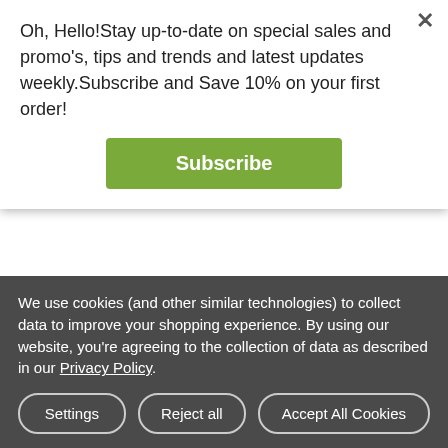Oh, Hello!Stay up-to-date on special sales and promo's, tips and trends and latest updates weekly.Subscribe and Save 10% on your first order!
Subscribe
| Reinforced Finishing | [image] | We put webbing tape to all edges of the banner.

Useful for hanging in places with harsh weather, as this finishing provides extra |
We use cookies (and other similar technologies) to collect data to improve your shopping experience. By using our website, you're agreeing to the collection of data as described in our Privacy Policy.
Settings
Reject all
Accept All Cookies